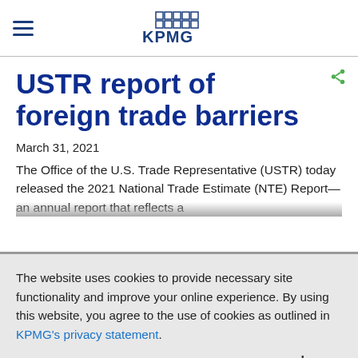KPMG
USTR report of foreign trade barriers
March 31, 2021
The Office of the U.S. Trade Representative (USTR) today released the 2021 National Trade Estimate (NTE) Report—an annual report that reflects a
The website uses cookies to provide necessary site functionality and improve your online experience. By using this website, you agree to the use of cookies as outlined in KPMG's privacy statement.
I agree